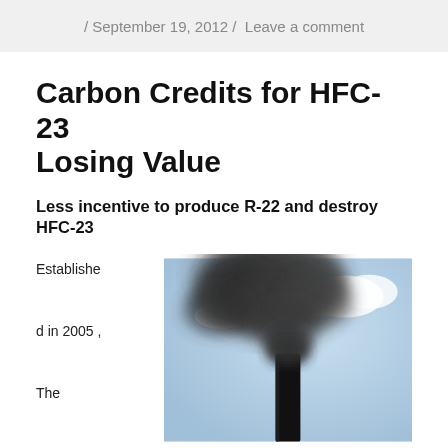/ September 19, 2012 / Leave a comment
Carbon Credits for HFC-23 Losing Value
Less incentive to produce R-22 and destroy HFC-23
Established in 2005 , The United Nations
[Figure (photo): Industrial smokestack emitting large plumes of dark gray smoke against a partly cloudy blue sky]